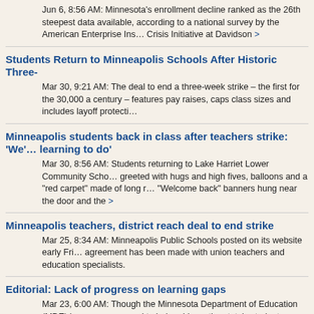Jun 6, 8:56 AM: Minnesota's enrollment decline ranked as the 26th steepest data available, according to a national survey by the American Enterprise Institute's Crisis Initiative at Davidson >
Students Return to Minneapolis Schools After Historic Three-
Mar 30, 9:21 AM: The deal to end a three-week strike – the first for the 30,000 a century – features pay raises, caps class sizes and includes layoff protection
Minneapolis students back in class after teachers strike: 'We' learning to do'
Mar 30, 8:56 AM: Students returning to Lake Harriet Lower Community School greeted with hugs and high fives, balloons and a "red carpet" made of long r "Welcome back" banners hung near the door and the >
Minneapolis teachers, district reach deal to end strike
Mar 25, 8:34 AM: Minneapolis Public Schools posted on its website early Friday agreement has been made with union teachers and education specialists.
Editorial: Lack of progress on learning gaps
Mar 23, 6:00 AM: Though the Minnesota Department of Education (MDE) ha are supposed to help address the state's student achievement gaps, they are
GOP candidates, including two former teachers, slam Minneapolis union as strike enters eleventh day
Mar 22, 9:07 AM: Republican candidates slammed the Minneapolis teachers demands" as the teacher strike extended into its eleventh day on Tuesday.